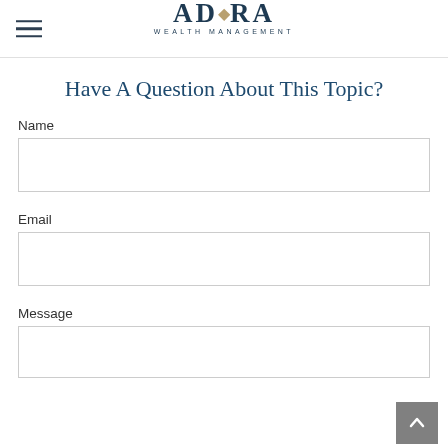ADARA WEALTH MANAGEMENT
Have A Question About This Topic?
Name
Email
Message